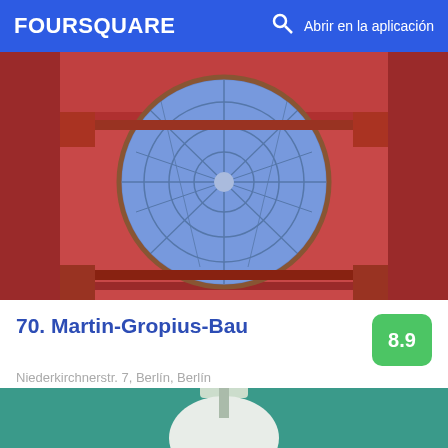FOURSQUARE   Abrir en la aplicación
[Figure (photo): Architecture photo showing a red ornate ceiling with a large circular glass dome/skylight with blue geometric pattern]
70. Martin-Gropius-Bau
Niederkirchnerstr. 7, Berlín, Berlín
Museo de arte · Kreuzberg · 107 tips y reseñas
Steve Johnson: Best exhibitions in town Leer más.
[Figure (photo): Partial view of a white rounded object (possibly a toilet or lamp) against a teal/green background]